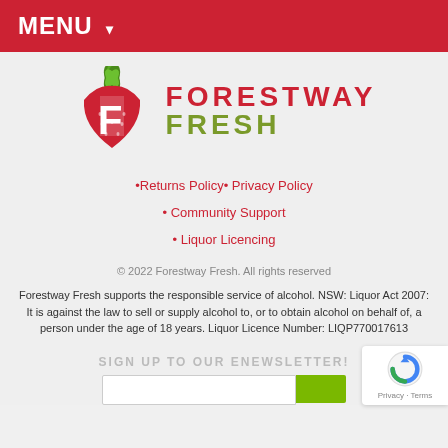MENU ▾
[Figure (logo): Forestway Fresh logo: strawberry with F letter and brand name FORESTWAY FRESH]
•Returns Policy• Privacy Policy
• Community Support
• Liquor Licencing
© 2022 Forestway Fresh. All rights reserved
Forestway Fresh supports the responsible service of alcohol. NSW: Liquor Act 2007: It is against the law to sell or supply alcohol to, or to obtain alcohol on behalf of, a person under the age of 18 years. Liquor Licence Number: LIQP770017613
SIGN UP TO OUR ENEWSLETTER!